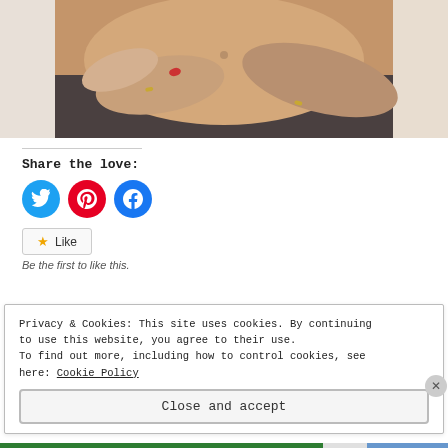[Figure (photo): Close-up photo of a pregnant woman's belly with hands of two people (one with red nail polish and a ring, one male hand with a ring) placed on the belly area. Woman is wearing dark clothing.]
Share the love:
[Figure (infographic): Three social media share buttons: Twitter (blue circle), Pinterest (red circle), Facebook (blue circle)]
[Figure (infographic): Like button with star icon and text 'Like', followed by text 'Be the first to like this']
Privacy & Cookies: This site uses cookies. By continuing to use this website, you agree to their use.
To find out more, including how to control cookies, see here: Cookie Policy
Close and accept